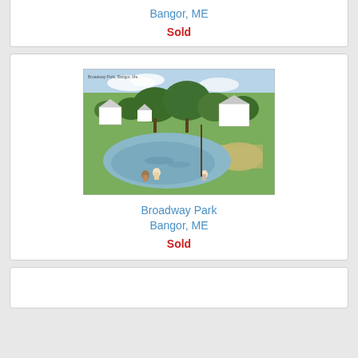Bangor, ME
Sold
[Figure (photo): Vintage postcard of Broadway Park in Bangor, ME showing a pond with children nearby, trees, and white houses in the background.]
Broadway Park
Bangor, ME
Sold